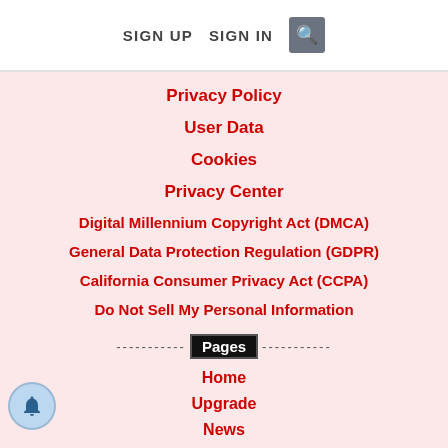SIGN UP   SIGN IN   🔍
Privacy Policy
User Data
Cookies
Privacy Center
Digital Millennium Copyright Act (DMCA)
General Data Protection Regulation (GDPR)
California Consumer Privacy Act (CCPA)
Do Not Sell My Personal Information
Pages
Home
Upgrade
News